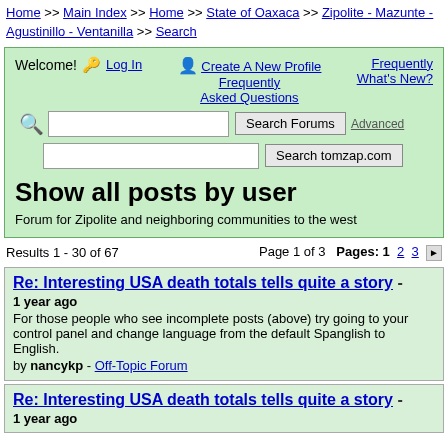Home >> Main Index >> Home >> State of Oaxaca >> Zipolite - Mazunte - Agustinillo - Ventanilla >> Search
Welcome! Log In  Create A New Profile  Frequently Asked Questions  What's New?
Show all posts by user
Forum for Zipolite and neighboring communities to the west
Results 1 - 30 of 67   Page 1 of 3   Pages: 1  2  3
Re: Interesting USA death totals tells quite a story - 1 year ago For those people who see incomplete posts (above) try going to your control panel and change language from the default Spanglish to English. by nancykp - Off-Topic Forum
Re: Interesting USA death totals tells quite a story - 1 year ago